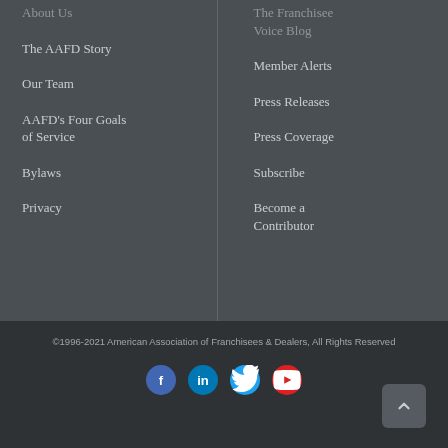About Us
The AAFD Story
Our Team
AAFD's Four Goals of Service
Bylaws
Privacy
The Franchisee Voice Blog
Member Alerts
Press Releases
Press Coverage
Subscribe
Become a Contributor
©1996-2021 American Association of Franchisees & Dealers, All Rights Reserved